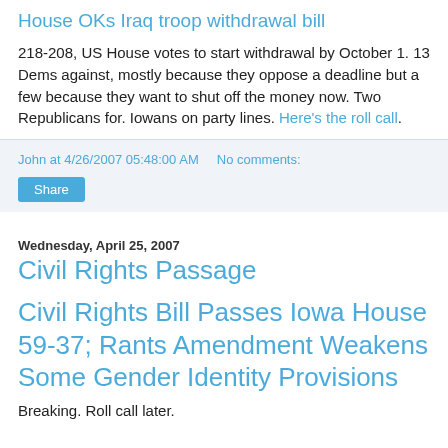House OKs Iraq troop withdrawal bill
218-208, US House votes to start withdrawal by October 1. 13 Dems against, mostly because they oppose a deadline but a few because they want to shut off the money now. Two Republicans for. Iowans on party lines. Here's the roll call.
John at 4/26/2007 05:48:00 AM   No comments:
Share
Wednesday, April 25, 2007
Civil Rights Passage
Civil Rights Bill Passes Iowa House 59-37; Rants Amendment Weakens Some Gender Identity Provisions
Breaking. Roll call later.